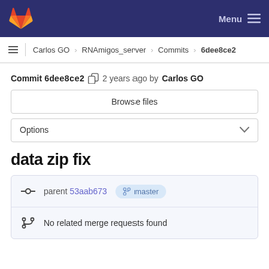GitLab navigation bar with logo and Menu
Carlos GO › RNAmigos_server › Commits › 6dee8ce2
Commit 6dee8ce2  2 years ago by Carlos GO
Browse files
Options
data zip fix
parent 53aab673  master
No related merge requests found